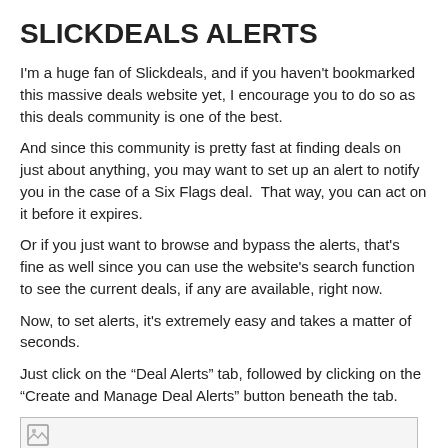SLICKDEALS ALERTS
I'm a huge fan of Slickdeals, and if you haven't bookmarked this massive deals website yet, I encourage you to do so as this deals community is one of the best.
And since this community is pretty fast at finding deals on just about anything, you may want to set up an alert to notify you in the case of a Six Flags deal.  That way, you can act on it before it expires.
Or if you just want to browse and bypass the alerts, that's fine as well since you can use the website's search function to see the current deals, if any are available, right now.
Now, to set alerts, it's extremely easy and takes a matter of seconds.
Just click on the “Deal Alerts” tab, followed by clicking on the “Create and Manage Deal Alerts” button beneath the tab.
[Figure (screenshot): Broken image placeholder thumbnail]
Next, add “Six Flags” as a search term and click “Add Alert”